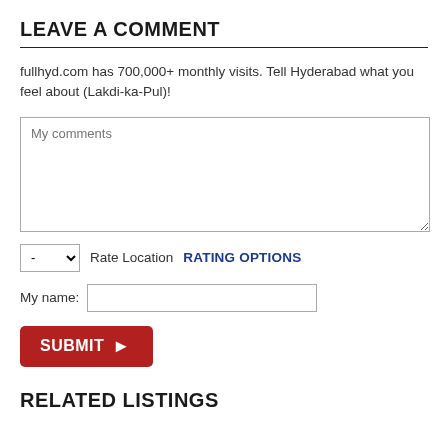LEAVE A COMMENT
fullhyd.com has 700,000+ monthly visits. Tell Hyderabad what you feel about (Lakdi-ka-Pul)!
RELATED LISTINGS